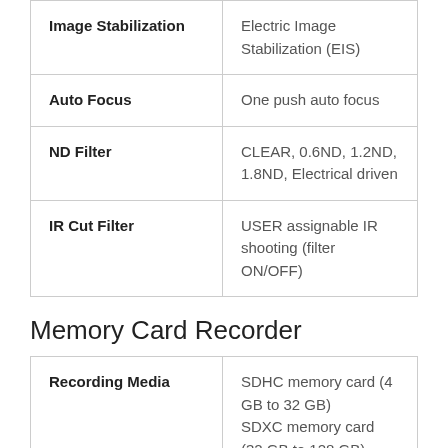| Feature | Description |
| --- | --- |
| Image Stabilization | Electric Image Stabilization (EIS) |
| Auto Focus | One push auto focus |
| ND Filter | CLEAR, 0.6ND, 1.2ND, 1.8ND, Electrical driven |
| IR Cut Filter | USER assignable IR shooting (filter ON/OFF) |
Memory Card Recorder
| Feature | Description |
| --- | --- |
| Recording Media | SDHC memory card (4 GB to 32 GB)
SDXC memory card (32 GB to 128 GB)
UHS-I/UHS-II UHS Speed Class3 is supported, |